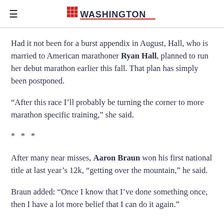Washington Times logo with hamburger menu
Had it not been for a burst appendix in August, Hall, who is married to American marathoner Ryan Hall, planned to run her debut marathon earlier this fall. That plan has simply been postponed.
“After this race I’ll probably be turning the corner to more marathon specific training,” she said.
***
After many near misses, Aaron Braun won his first national title at last year’s 12k, “getting over the mountain,” he said.
Braun added: “Once I know that I’ve done something once, then I have a lot more belief that I can do it again.”